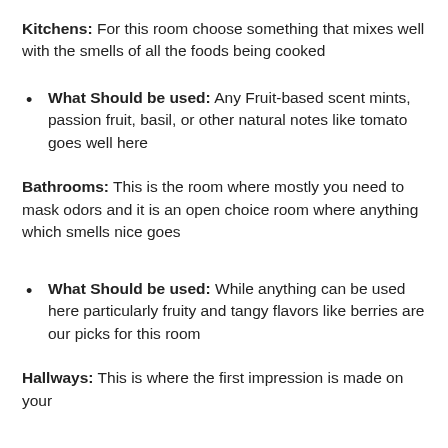Kitchens: For this room choose something that mixes well with the smells of all the foods being cooked
What Should be used: Any Fruit-based scent mints, passion fruit, basil, or other natural notes like tomato goes well here
Bathrooms: This is the room where mostly you need to mask odors and it is an open choice room where anything which smells nice goes
What Should be used: While anything can be used here particularly fruity and tangy flavors like berries are our picks for this room
Hallways: This is where the first impression is made on your